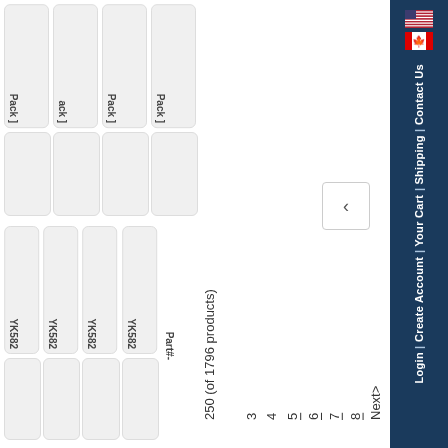250 (of 1796 products)
3 4 5 6 7 8 Next>
Part# - YK582 YK582 YK582 YK582
Pack ] Pack ] ack ] Pack ]
Login | Create Account | Your Cart | Shipping | Contact Us